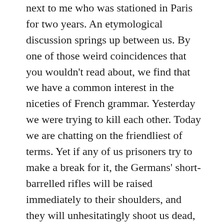next to me who was stationed in Paris for two years. An etymological discussion springs up between us. By one of those weird coincidences that you wouldn't read about, we find that we have a common interest in the niceties of French grammar. Yesterday we were trying to kill each other. Today we are chatting on the friendliest of terms. Yet if any of us prisoners try to make a break for it, the Germans' short-barrelled rifles will be raised immediately to their shoulders, and they will unhesitatingly shoot us dead, just as we should do if our positions were reversed. C'est la guerre!
We rapidly leave behind the Hartenstein perimeter with its sickening array of swollen